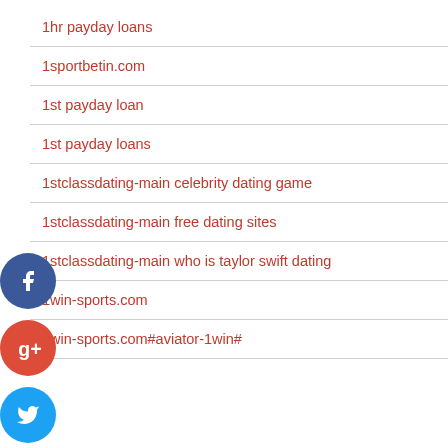1hr payday loans
1sportbetin.com
1st payday loan
1st payday loans
1stclassdating-main celebrity dating game
1stclassdating-main free dating sites
1stclassdating-main who is taylor swift dating
1win-sports.com
1win-sports.com#aviator-1win#